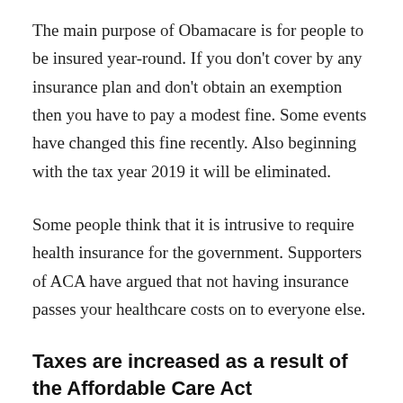The main purpose of Obamacare is for people to be insured year-round. If you don't cover by any insurance plan and don't obtain an exemption then you have to pay a modest fine. Some events have changed this fine recently. Also beginning with the tax year 2019 it will be eliminated.
Some people think that it is intrusive to require health insurance for the government. Supporters of ACA have argued that not having insurance passes your healthcare costs on to everyone else.
Taxes are increased as a result of the Affordable Care Act